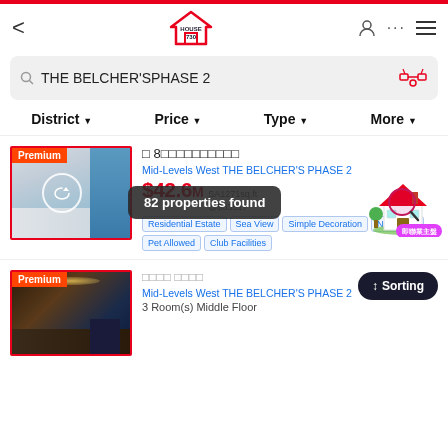House 730 navigation header with back arrow, logo, and icons
THE BELCHER'SPHASE 2
District ▼
Price ▼
Type ▼
More ▼
Premium
□ 8□□□□□□□□□□
82 properties found
Mid-Levels West THE BELCHER'S PHASE 2
$42.6M  SA1271sq.ft @$33517
Residential Estate  Sea View  Simple Decoration  Near MTR  Pet Allowed  Club Facilities
Premium
□□□□ □□□□
↕ Sorting
Mid-Levels West THE BELCHER'S PHASE 2
3 Room(s) Middle Floor